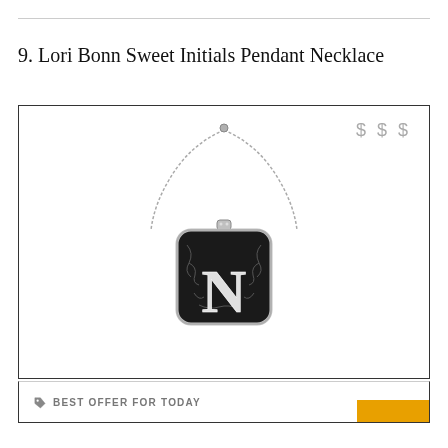9. Lori Bonn Sweet Initials Pendant Necklace
[Figure (photo): A silver pendant necklace with a square charm featuring the letter N in silver against a black filigree background, hanging on a box chain. Price indicator shows '$$$' in the top right corner of the product box.]
BEST OFFER FOR TODAY